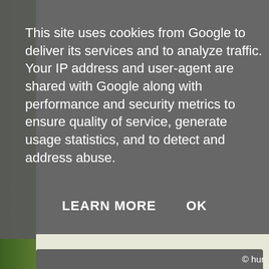[Figure (screenshot): Google cookie consent dialog overlay on top of a blurred background showing green foliage on the left and a dark gray rounded panel. The dialog has a semi-transparent dark gray background with white text describing cookie usage and two action buttons: LEARN MORE and OK.]
This site uses cookies from Google to deliver its services and to analyze traffic. Your IP address and user-agent are shared with Google along with performance and security metrics to ensure quality of service, generate usage statistics, and to detect and address abuse.
LEARN MORE    OK
© hur